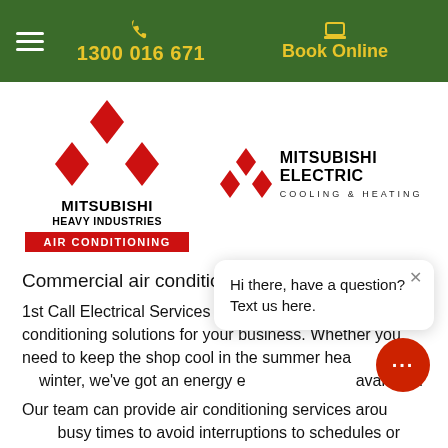1300 016 671 | Book Online
[Figure (logo): Mitsubishi Heavy Industries Air Conditioning logo with red diamond/star emblem and red badge]
[Figure (logo): Mitsubishi Electric Cooling & Heating logo with red diamond emblem]
Commercial air conditioning
1st Call Electrical Services has a range of air conditioning solutions for your business. Whether you need to keep the shop cool in the summer hea... winter, we've got an energy e... available.
Our team can provide air conditioning services arou... busy times to avoid interruptions to schedules or production.